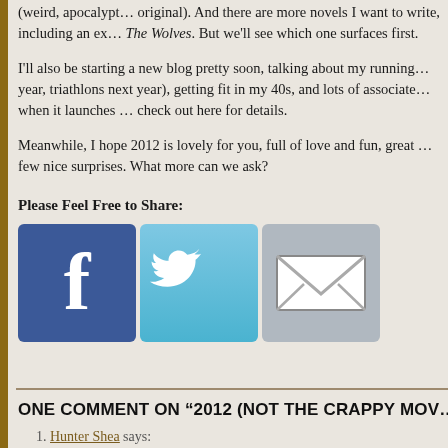(weird, apocalypt… original). And there are more novels I want to write, including an ex… The Wolves. But we'll see which one surfaces first.
I'll also be starting a new blog pretty soon, talking about my running… year, triathlons next year), getting fit in my 40s, and lots of associate… when it launches … check out here for details.
Meanwhile, I hope 2012 is lovely for you, full of love and fun, great … few nice surprises. What more can we ask?
Please Feel Free to Share:
[Figure (other): Row of three social sharing icons: Facebook (blue with white f), Twitter (light blue with white bird), Email (grey with envelope)]
ONE COMMENT ON “2012 (NOT THE CRAPPY MOV…
1. Hunter Shea says: